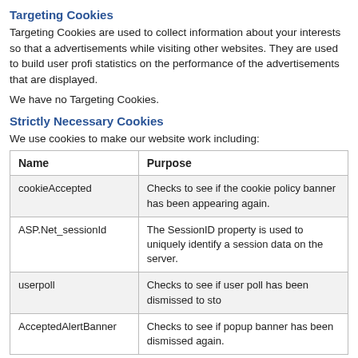Targeting Cookies
Targeting Cookies are used to collect information about your interests so that advertisements while visiting other websites. They are used to build user profiles statistics on the performance of the advertisements that are displayed.
We have no Targeting Cookies.
Strictly Necessary Cookies
We use cookies to make our website work including:
| Name | Purpose |
| --- | --- |
| cookieAccepted | Checks to see if the cookie policy banner has been appearing again. |
| ASP.Net_sessionId | The SessionID property is used to uniquely identify session data on the server. |
| userpoll | Checks to see if user poll has been dismissed to sto |
| AcceptedAlertBanner | Checks to see if popup banner has been dismissed again. |
There is no way to prevent these cookies being set, other than to not use our
Performance Cookies
We use performance cookies to gather data on how visitors use a website.